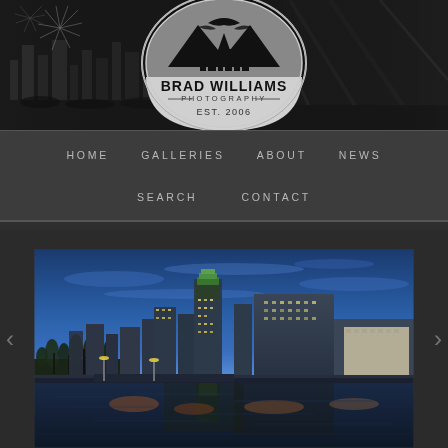[Figure (logo): Brad Williams Photography logo — circular badge with mountain silhouette, city skyline, eagle, text BRAD WILLIAMS PHOTOGRAPHY EST. 2006, on a dark panoramic banner background with fireworks on left and canyon/river on right]
HOME   GALLERIES   ABOUT   NEWS   SEARCH   CONTACT
[Figure (photo): City skyline at twilight/dusk with blue sky, tall buildings including one with green lit top, trees in foreground, river or canal with reflections of city lights in the water]